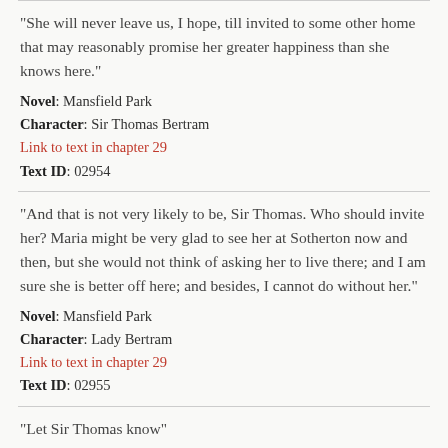"She will never leave us, I hope, till invited to some other home that may reasonably promise her greater happiness than she knows here."
Novel: Mansfield Park
Character: Sir Thomas Bertram
Link to text in chapter 29
Text ID: 02954
"And that is not very likely to be, Sir Thomas. Who should invite her? Maria might be very glad to see her at Sotherton now and then, but she would not think of asking her to live there; and I am sure she is better off here; and besides, I cannot do without her."
Novel: Mansfield Park
Character: Lady Bertram
Link to text in chapter 29
Text ID: 02955
"Let Sir Thomas know"
Novel: Mansfield Park